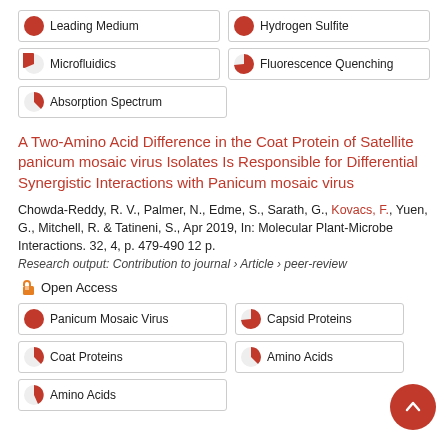Leading Medium
Hydrogen Sulfite
Microfluidics
Fluorescence Quenching
Absorption Spectrum
A Two-Amino Acid Difference in the Coat Protein of Satellite panicum mosaic virus Isolates Is Responsible for Differential Synergistic Interactions with Panicum mosaic virus
Chowda-Reddy, R. V., Palmer, N., Edme, S., Sarath, G., Kovacs, F., Yuen, G., Mitchell, R. & Tatineni, S., Apr 2019, In: Molecular Plant-Microbe Interactions. 32, 4, p. 479-490 12 p.
Research output: Contribution to journal › Article › peer-review
Open Access
Panicum Mosaic Virus
Capsid Proteins
Coat Proteins
Amino Acids
Amino Acids